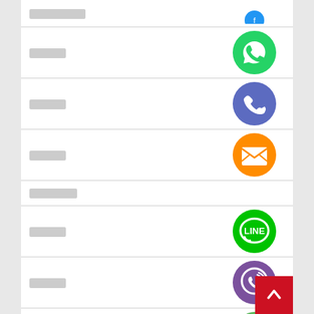[Thai text] - WhatsApp
[Thai text] - Phone/Call
[Thai text] - Email
[Thai text] - LINE
[Thai text] - Viber
[Thai text] - Close/Cancel
[Thai text]